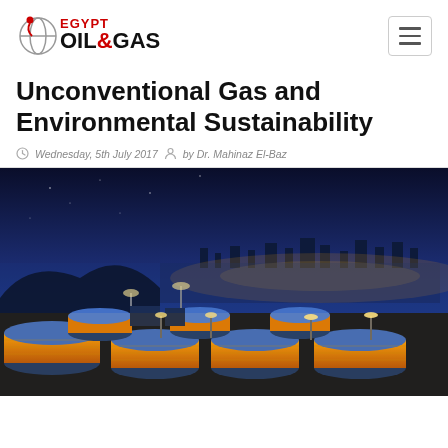Egypt Oil & Gas
Unconventional Gas and Environmental Sustainability
Wednesday, 5th July 2017  by Dr. Mahinaz El-Baz
[Figure (photo): Aerial night view of an oil and gas storage facility with large illuminated cylindrical tanks and a city skyline in the background]